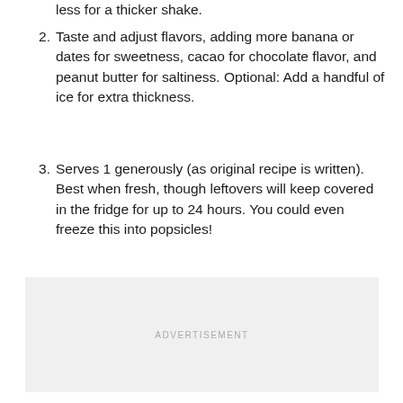less for a thicker shake.
2. Taste and adjust flavors, adding more banana or dates for sweetness, cacao for chocolate flavor, and peanut butter for saltiness. Optional: Add a handful of ice for extra thickness.
3. Serves 1 generously (as original recipe is written). Best when fresh, though leftovers will keep covered in the fridge for up to 24 hours. You could even freeze this into popsicles!
[Figure (other): Advertisement placeholder box with light gray background and 'ADVERTISEMENT' label in center]